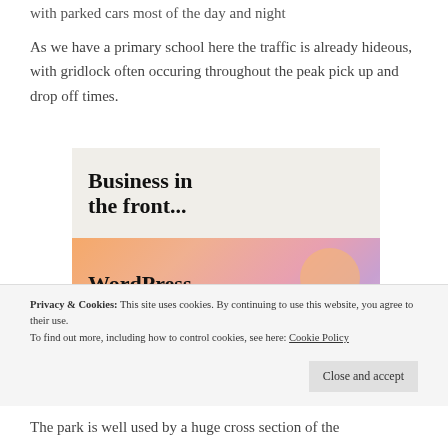with parked cars most of the day and night
As we have a primary school here the traffic is already hideous, with gridlock often occuring throughout the peak pick up and drop off times.
[Figure (screenshot): Advertisement image with two sections: top grey section with bold text 'Business in the front...' and bottom colorful gradient section with bold text 'WordPress in the back.' with decorative circles]
Privacy & Cookies: This site uses cookies. By continuing to use this website, you agree to their use.
To find out more, including how to control cookies, see here: Cookie Policy
The park is well used by a huge cross section of the